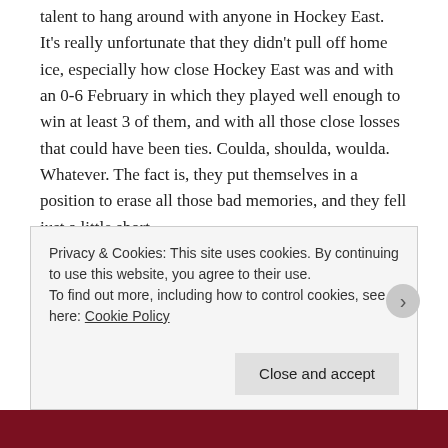talent to hang around with anyone in Hockey East. It's really unfortunate that they didn't pull off home ice, especially how close Hockey East was and with an 0-6 February in which they played well enough to win at least 3 of them, and with all those close losses that could have been ties. Coulda, shoulda, woulda. Whatever. The fact is, they put themselves in a position to erase all those bad memories, and they fell just a little short.
So what's next? While the other three HEA playoff series go to a game 3 tomorrow, UMass prepares for an offseason which will certainly weaken their defensive corps and, depending on what happens to Jimmy and Casey, may make next year into a full-on rebuilding season. On the other hand, if one or both of UMass's offensive stars are here next year, there's a lot to look forward to. We'll get into more detail soon (it's a long offseason, after all), but I see next year being a
Privacy & Cookies: This site uses cookies. By continuing to use this website, you agree to their use.
To find out more, including how to control cookies, see here: Cookie Policy